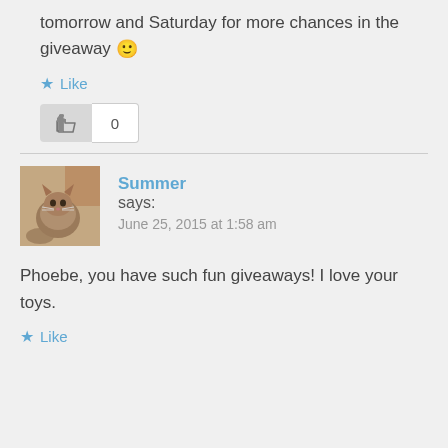tomorrow and Saturday for more chances in the giveaway 🙂
★ Like
[Figure (other): Thumbs up button with count 0]
Summer says: June 25, 2015 at 1:58 am
[Figure (photo): Profile photo of a cat]
Phoebe, you have such fun giveaways! I love your toys.
★ Like